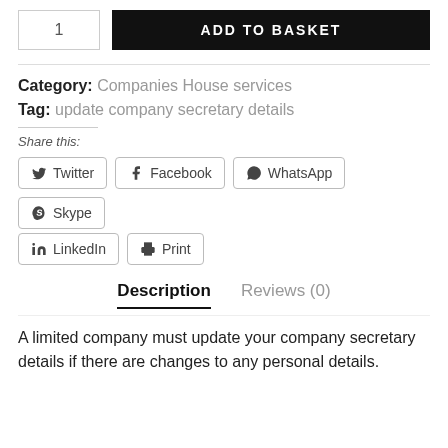1  ADD TO BASKET
Category: Companies House services
Tag: update company secretary details
Share this:
Twitter  Facebook  WhatsApp  Skype  LinkedIn  Print
Description  Reviews (0)
A limited company must update your company secretary details if there are changes to any personal details.